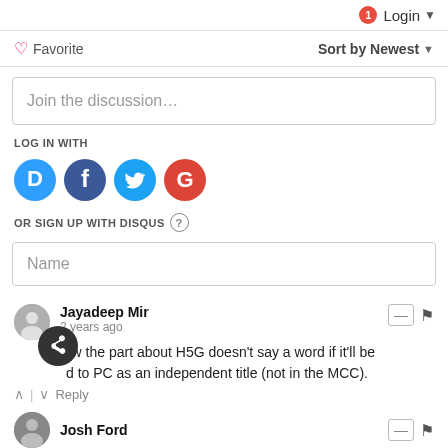1 Login ▼
♡ Favorite    Sort by Newest ▼
Join the discussion…
LOG IN WITH
[Figure (logo): Social login icons: Disqus (blue circle D), Facebook (dark blue circle f), Twitter (light blue circle bird), Google (red circle G)]
OR SIGN UP WITH DISQUS ?
Name
Jayadeep Mir
2 years ago
how the part about H5G doesn't say a word if it'll be ported to PC as an independent title (not in the MCC).
^ | ∨  Reply
Josh Ford